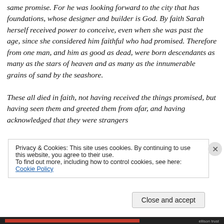same promise. For he was looking forward to the city that has foundations, whose designer and builder is God. By faith Sarah herself received power to conceive, even when she was past the age, since she considered him faithful who had promised. Therefore from one man, and him as good as dead, were born descendants as many as the stars of heaven and as many as the innumerable grains of sand by the seashore.

These all died in faith, not having received the things promised, but having seen them and greeted them from afar, and having acknowledged that they were strangers
Privacy & Cookies: This site uses cookies. By continuing to use this website, you agree to their use.
To find out more, including how to control cookies, see here: Cookie Policy
Close and accept